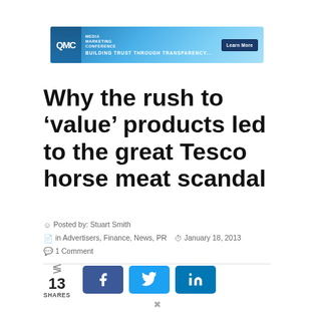[Figure (screenshot): Blue banner advertisement for Media Marketing Conference with logo, tagline 'Building Trust Through Transparency...' and 'Learn More' button]
Why the rush to ‘value’ products led to the great Tesco horse meat scandal
Posted by: Stuart Smith
in Advertisers, Finance, News, PR   January 18, 2013
1 Comment
13 SHARES